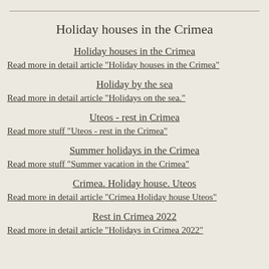Holiday houses in the Crimea
Holiday houses in the Crimea
Read more in detail article "Holiday houses in the Crimea"
Holiday by the sea
Read more in detail article "Holidays on the sea."
Uteos - rest in Crimea
Read more stuff "Uteos - rest in the Crimea"
Summer holidays in the Crimea
Read more stuff "Summer vacation in the Crimea"
Crimea. Holiday house. Uteos
Read more in detail article "Crimea Holiday house Uteos"
Rest in Crimea 2022
Read more in detail article "Holidays in Crimea 2022"